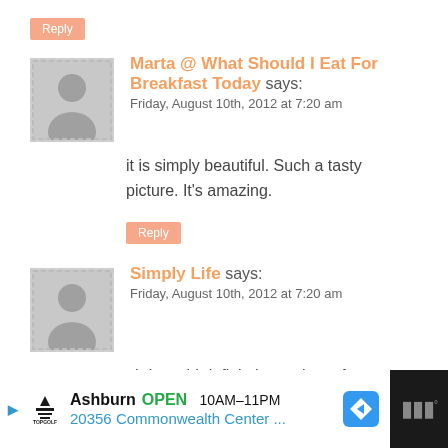Reply
Marta @ What Should I Eat For Breakfast Today says:
Friday, August 10th, 2012 at 7:20 am
it is simply beautiful. Such a tasty picture. It’s amazing.
Reply
Simply Life says:
Friday, August 10th, 2012 at 7:20 am
oh I would definitely eat these for breakfast!
[Figure (other): Advertisement bar: Topgolf Ashburn OPEN 10AM-11PM 20356 Commonwealth Center...]